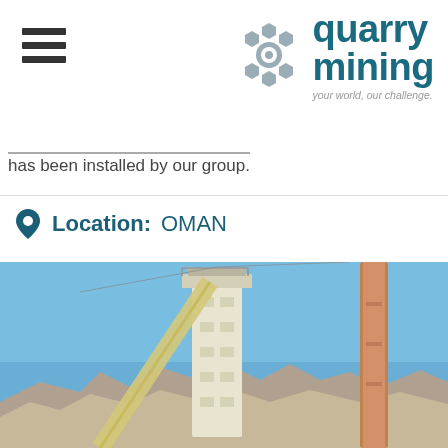[Figure (logo): Quarry Mining company logo with hexagonal gear icon and text 'quarry mining' and tagline 'your world, our challenge.']
...has been installed by our group.
Location: OMAN
[Figure (photo): Industrial mining/quarrying structure - tall white cylindrical tower with conveyor belt and large crane or pipe on right side, rocky mountains in background, blue sky]